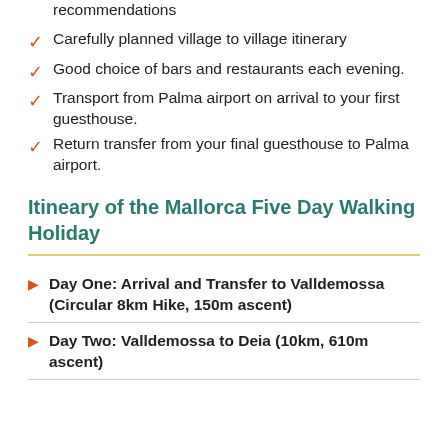recommendations
Carefully planned village to village itinerary
Good choice of bars and restaurants each evening.
Transport from Palma airport on arrival to your first guesthouse.
Return transfer from your final guesthouse to Palma airport.
Itineary of the Mallorca Five Day Walking Holiday
Day One: Arrival and Transfer to Valldemossa (Circular 8km Hike, 150m ascent)
Day Two: Valldemossa to Deia (10km, 610m ascent)